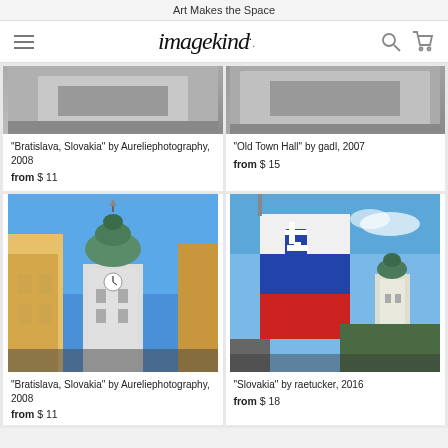Art Makes the Space
[Figure (screenshot): Imagekind website navigation bar with hamburger menu, logo, search and cart icons]
[Figure (photo): Bratislava, Slovakia architectural photo in black and white (partial, top of page)]
“Bratislava, Slovakia” by Aureliephotography, 2008
from $ 11
[Figure (photo): Old Town Hall photo (partial)]
“Old Town Hall” by gadl, 2007
from $ 15
[Figure (photo): Bratislava, Slovakia - church tower with green dome seen from below between yellow buildings against blue sky]
“Bratislava, Slovakia” by Aureliephotography, 2008
from $ 11
[Figure (photo): Slovakia flag with white cross on red/blue background with church tower in background against cloudy blue sky]
“Slovakia” by raetucker, 2016
from $ 18